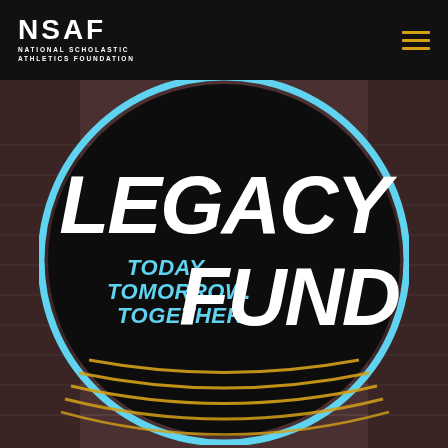[Figure (logo): NSAF National Scholastic Athletics Foundation header with logo on dark background and hamburger menu icon in gold]
[Figure (illustration): NSAF Legacy Fund circular logo on a running track background. Large bold white text LEGACY FUND with cyan text TODAY. TOMORROW. TOGETHER. and gold track lane lines at bottom on black circle with cyan border ring]